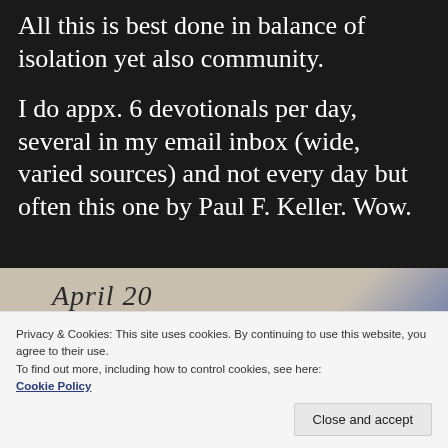All this is best done in balance of isolation yet also community.
I do appx. 6 devotionals per day, several in my email inbox (wide, varied sources) and not every day but often this one by Paul F. Keller. Wow.
[Figure (photo): A photo showing a devotional book or card open to April 20, with partial text reading 'What co...' at the bottom. Background has beige/blue tones.]
Privacy & Cookies: This site uses cookies. By continuing to use this website, you agree to their use.
To find out more, including how to control cookies, see here: Cookie Policy
Close and accept